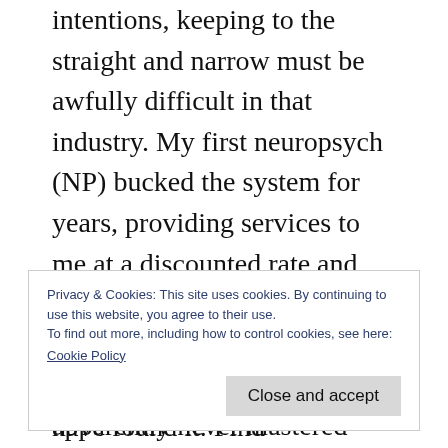intentions, keeping to the straight and narrow must be awfully difficult in that industry. My first neuropsych (NP) bucked the system for years, providing services to me at a discounted rate and submitting insurance claims with the billing codes that worked. The later NP apparently never mastered that skill. Either that, or they didn't actually want to. They said they spent a lot of time fighting with the insurance companies, but it seems to me they
Privacy & Cookies: This site uses cookies. By continuing to use this website, you agree to their use.
To find out more, including how to control cookies, see here:
Cookie Policy
sustainable level, they could have found it. Find